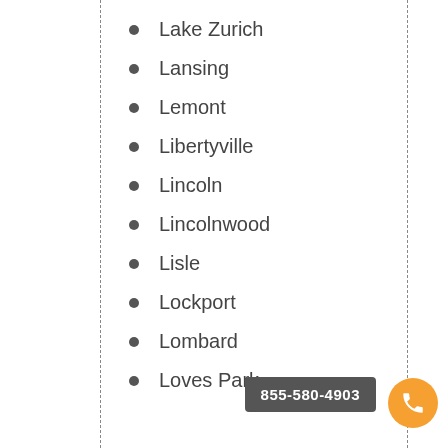Lake Zurich
Lansing
Lemont
Libertyville
Lincoln
Lincolnwood
Lisle
Lockport
Lombard
Loves Park
855-580-4903